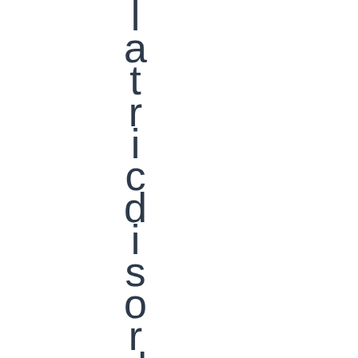l a t r i c d i s o r d e r s b